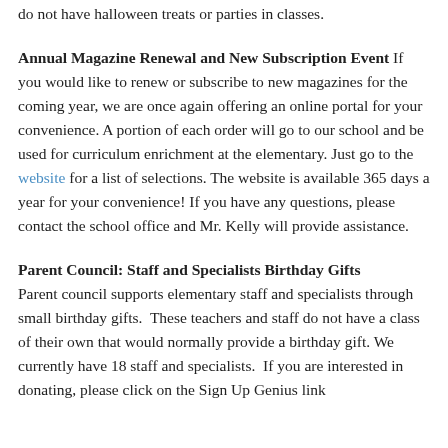do not have halloween treats or parties in classes.
Annual Magazine Renewal and New Subscription Event
If you would like to renew or subscribe to new magazines for the coming year, we are once again offering an online portal for your convenience. A portion of each order will go to our school and be used for curriculum enrichment at the elementary. Just go to the website for a list of selections. The website is available 365 days a year for your convenience! If you have any questions, please contact the school office and Mr. Kelly will provide assistance.
Parent Council: Staff and Specialists Birthday Gifts
Parent council supports elementary staff and specialists through small birthday gifts.  These teachers and staff do not have a class of their own that would normally provide a birthday gift. We currently have 18 staff and specialists.  If you are interested in donating, please click on the Sign Up Genius link